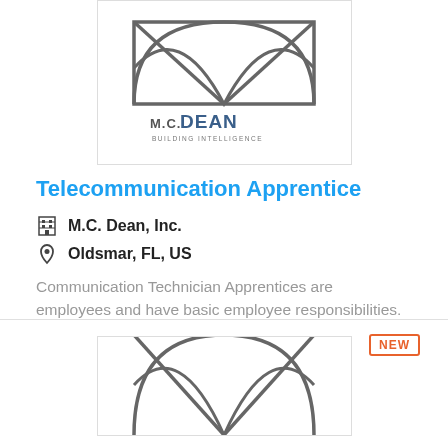[Figure (logo): M.C. Dean Building Intelligence company logo — geometric arch/oval shapes in gray above text 'M.C. DEAN BUILDING INTELLIGENCE']
Telecommunication Apprentice
M.C. Dean, Inc.
Oldsmar, FL, US
Communication Technician Apprentices are employees and have basic employee responsibilities. This level Apprentice will be given instruction and work experience installing basic communication equipmen...
More Details
[Figure (logo): Partial M.C. Dean logo visible at bottom of page — gray geometric shapes]